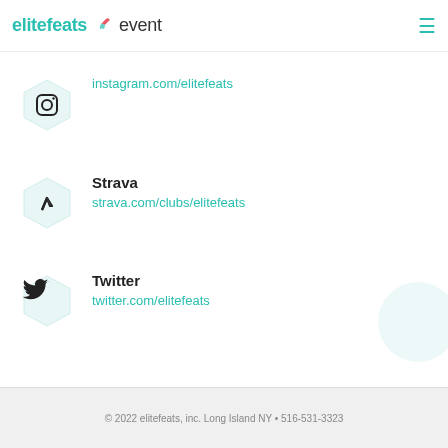elitefeats event
[Figure (logo): Elitefeats event logo with running shoe icon and hamburger menu]
instagram.com/elitefeats
Strava
strava.com/clubs/elitefeats
Twitter
twitter.com/elitefeats
© 2022 elitefeats, inc. Long Island NY • 516-531-3323